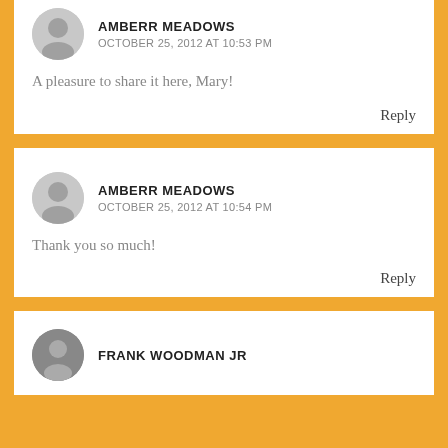AMBERR MEADOWS
OCTOBER 25, 2012 AT 10:53 PM
A pleasure to share it here, Mary!
Reply
AMBERR MEADOWS
OCTOBER 25, 2012 AT 10:54 PM
Thank you so much!
Reply
FRANK WOODMAN JR